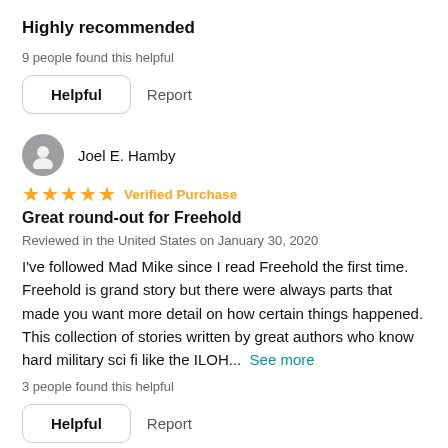Highly recommended
9 people found this helpful
Helpful   Report
Joel E. Hamby
★★★★★ Verified Purchase
Great round-out for Freehold
Reviewed in the United States on January 30, 2020
I've followed Mad Mike since I read Freehold the first time. Freehold is grand story but there were always parts that made you want more detail on how certain things happened. This collection of stories written by great authors who know hard military sci fi like the ILOH...  See more
3 people found this helpful
Helpful   Report